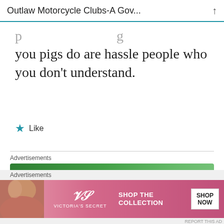Outlaw Motorcycle Clubs-A Gov...
you pigs do are hassle people who you don't understand.
★ Like
Advertisements
[Figure (screenshot): Jetpack advertisement banner with green background, Jetpack logo and 'Secure Your Site' button]
Advertisements
[Figure (screenshot): Victoria's Secret advertisement banner with pink background, VS logo, 'SHOP THE COLLECTION' text and 'SHOP NOW' button]
Anonymous  FEBRUARY 11, 2016 AT 7:05 PM